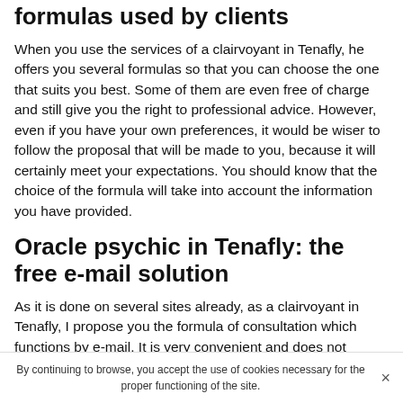formulas used by clients
When you use the services of a clairvoyant in Tenafly, he offers you several formulas so that you can choose the one that suits you best. Some of them are even free of charge and still give you the right to professional advice. However, even if you have your own preferences, it would be wiser to follow the proposal that will be made to you, because it will certainly meet your expectations. You should know that the choice of the formula will take into account the information you have provided.
Oracle psychic in Tenafly: the free e-mail solution
As it is done on several sites already, as a clairvoyant in Tenafly, I propose you the formula of consultation which functions by e-mail. It is very convenient and does not
By continuing to browse, you accept the use of cookies necessary for the proper functioning of the site.